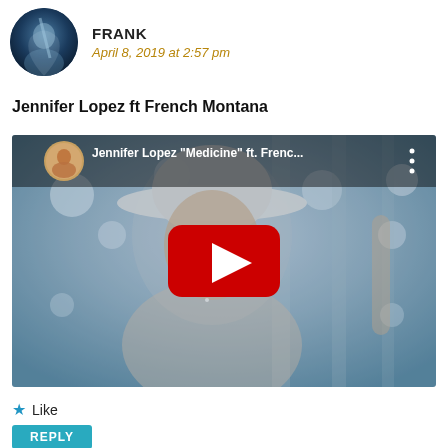[Figure (photo): Circular avatar photo of a person with blue/dark tones]
FRANK
April 8, 2019 at 2:57 pm
Jennifer Lopez ft French Montana
[Figure (screenshot): YouTube video thumbnail showing Jennifer Lopez in a white hat. Video title: Jennifer Lopez "Medicine" ft. Frenc... with YouTube play button overlay and channel icon.]
Like
REPLY